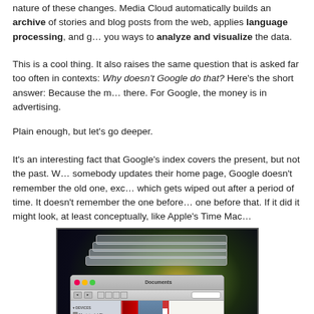nature of these changes. Media Cloud automatically builds an archive of stories and blog posts from the web, applies language processing, and gives you ways to analyze and visualize the data.
This is a cool thing. It also raises the same question that is asked far too often in contexts: Why doesn’t Google do that? Here’s the short answer: Because the money isn’t there. For Google, the money is in advertising.
Plain enough, but let’s go deeper.
It’s an interesting fact that Google’s index covers the present, but not the past. When somebody updates their home page, Google doesn’t remember the old one, except in a cache which gets wiped out after a period of time. It doesn’t remember the one before that, or the one before that. If it did it might look, at least conceptually, like Apple’s Time Mac…
[Figure (screenshot): Screenshot of Apple Time Machine interface showing a Finder window with sidebar listing devices (Macintosh HD, iDisk, Backup) and shared computers, overlaid on a space/galaxy background with stacked windows receding into the background, and document content visible in the main pane.]